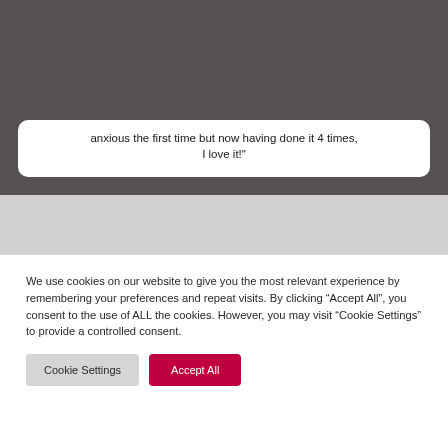anxious the first time but now having done it 4 times, I love it!"
We use cookies on our website to give you the most relevant experience by remembering your preferences and repeat visits. By clicking “Accept All”, you consent to the use of ALL the cookies. However, you may visit “Cookie Settings” to provide a controlled consent.